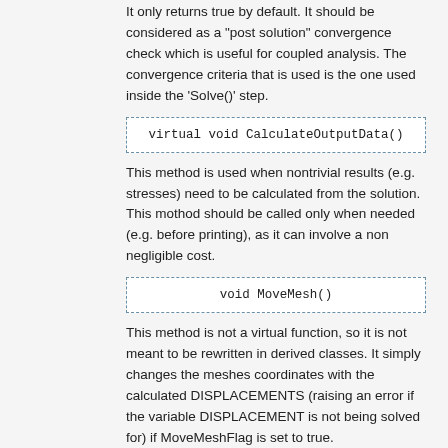It only returns true by default. It should be considered as a "post solution" convergence check which is useful for coupled analysis. The convergence criteria that is used is the one used inside the 'Solve()' step.
This method is used when nontrivial results (e.g. stresses) need to be calculated from the solution. This mothod should be called only when needed (e.g. before printing), as it can involve a non negligible cost.
This method is not a virtual function, so it is not meant to be rewritten in derived classes. It simply changes the meshes coordinates with the calculated DISPLACEMENTS (raising an error if the variable DISPLACEMENT is not being solved for) if MoveMeshFlag is set to true.